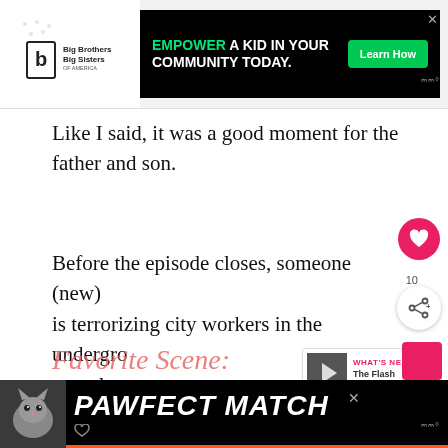[Figure (screenshot): Big Brothers Big Sisters of America logo and advertisement banner: 'EMPOWER A KID IN YOUR COMMUNITY TODAY.' with 'Learn How' green button on black background]
Like I said, it was a good moment for the father and son.
Before the episode closes, someone (new) is terrorizing city workers in the underground tunnels.
[Figure (screenshot): PAWFECT MATCH bottom advertisement banner with cat image on black/orange background]